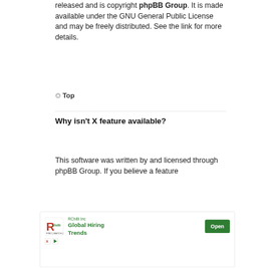released and is copyright phpBB Group. It is made available under the GNU General Public License and may be freely distributed. See the link for more details.
Top
Why isn't X feature available?
This software was written by and licensed through phpBB Group. If you believe a feature
[Figure (infographic): Advertisement for RChilli Inc - Global Hiring Trends with Open button]